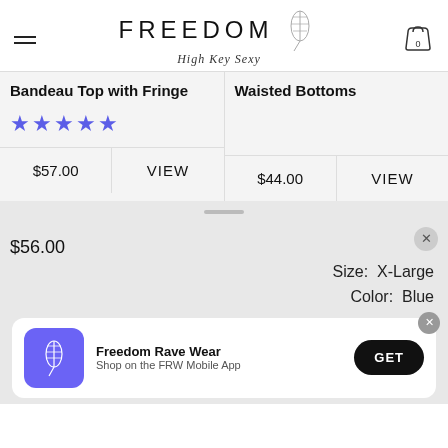FREEDOM High Key Sexy
Bandeau Top with Fringe
★★★★★
$57.00  VIEW
Waisted Bottoms
$44.00  VIEW
$56.00
Size: X-Large
Color: Blue
Freedom Rave Wear
Shop on the FRW Mobile App
GET